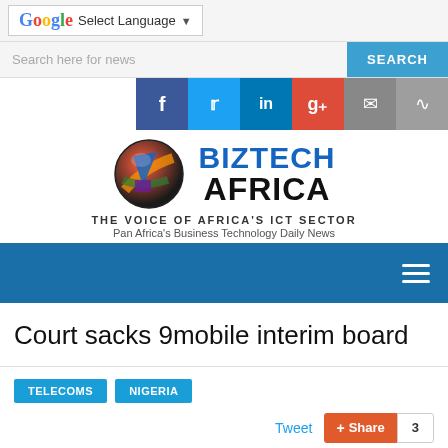Select Language | ▼
Search here for news  SEARCH
[Figure (logo): BizTech Africa logo with globe icon, text BIZTECH AFRICA, taglines THE VOICE OF AFRICA'S ICT SECTOR and Pan Africa's Business Technology Daily News]
Court sacks 9mobile interim board
TELECOMS
NIGERIA
Tweet  Share  3